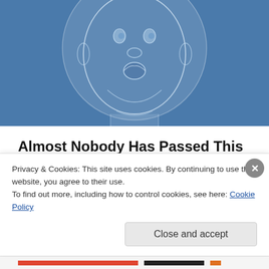[Figure (illustration): Blue background hero image with a sketched/illustrated baby face drawn in white/light blue lines, centered within a circular frame on a steel blue background.]
Almost Nobody Has Passed This Classic Logo Quiz
WarpedSpeed
Share this:
Twitter   Facebook
Privacy & Cookies: This site uses cookies. By continuing to use this website, you agree to their use.
To find out more, including how to control cookies, see here: Cookie Policy
Close and accept